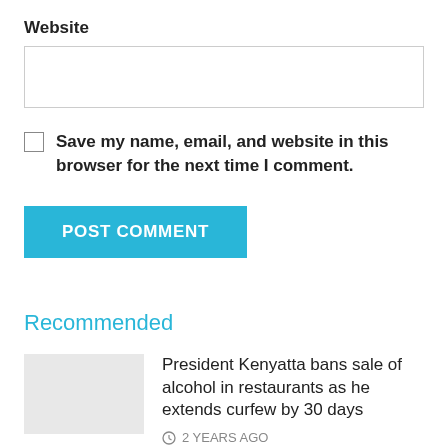Website
Save my name, email, and website in this browser for the next time I comment.
POST COMMENT
Recommended
President Kenyatta bans sale of alcohol in restaurants as he extends curfew by 30 days
2 YEARS AGO
Ruto absent as Uhuru, Raila offer Sh50 billion